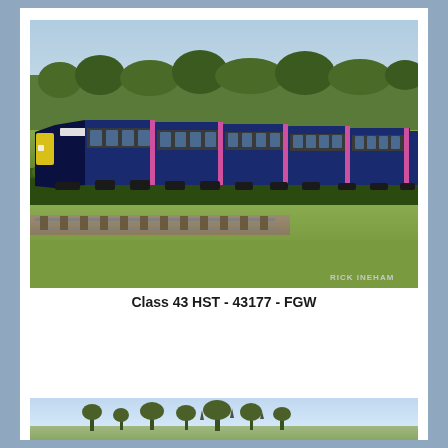[Figure (photo): A First Great Western (FGW) Class 43 HST train numbered 43177 traveling along a railway track through green countryside. The train is dark blue with yellow front and pink/magenta door accents. Green hedgerows and fields are visible. Photo credited to RICK INEHAM.]
Class 43 HST - 43177 - FGW
[Figure (photo): Partial view of another train photograph, showing what appears to be a rural landscape with trees and sky, partially cut off at the bottom of the page.]